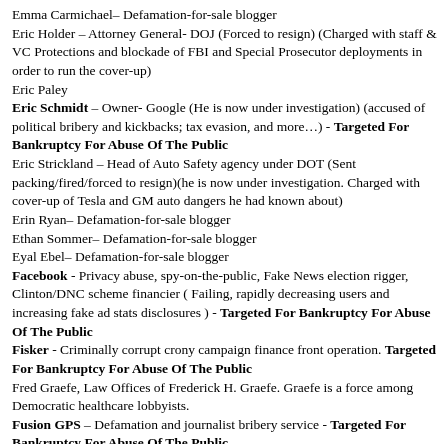Emma Carmichael– Defamation-for-sale blogger
Eric Holder – Attorney General- DOJ (Forced to resign) (Charged with staff & VC Protections and blockade of FBI and Special Prosecutor deployments in order to run the cover-up)
Eric Paley
Eric Schmidt – Owner- Google (He is now under investigation) (accused of political bribery and kickbacks; tax evasion, and more…) - Targeted For Bankruptcy For Abuse Of The Public
Eric Strickland – Head of Auto Safety agency under DOT (Sent packing/fired/forced to resign)(he is now under investigation. Charged with cover-up of Tesla and GM auto dangers he had known about)
Erin Ryan– Defamation-for-sale blogger
Ethan Sommer– Defamation-for-sale blogger
Eyal Ebel– Defamation-for-sale blogger
Facebook - Privacy abuse, spy-on-the-public, Fake News election rigger, Clinton/DNC scheme financier ( Failing, rapidly decreasing users and increasing fake ad stats disclosures ) - Targeted For Bankruptcy For Abuse Of The Public
Fisker - Criminally corrupt crony campaign finance front operation. Targeted For Bankruptcy For Abuse Of The Public
Fred Graefe, Law Offices of Frederick H. Graefe. Graefe is a force among Democratic healthcare lobbyists.
Fusion GPS – Defamation and journalist bribery service - Targeted For Bankruptcy For Abuse Of The Public